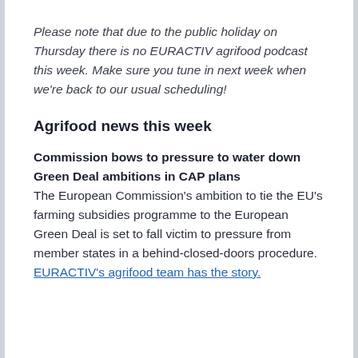Please note that due to the public holiday on Thursday there is no EURACTIV agrifood podcast this week. Make sure you tune in next week when we're back to our usual scheduling!
Agrifood news this week
Commission bows to pressure to water down Green Deal ambitions in CAP plans
The European Commission's ambition to tie the EU's farming subsidies programme to the European Green Deal is set to fall victim to pressure from member states in a behind-closed-doors procedure. EURACTIV's agrifood team has the story.